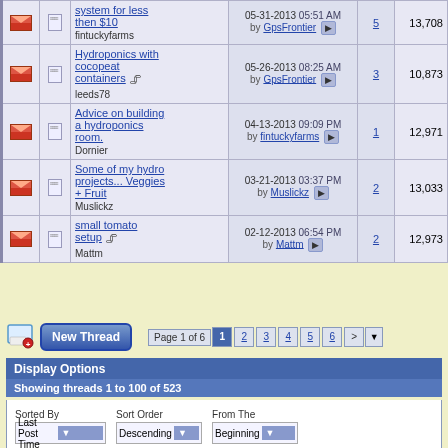|  |  | Topic | Last Post | Replies | Views |
| --- | --- | --- | --- | --- | --- |
| [icon] | [doc] | system for less then $10
fintuckyfarms | 05-31-2013 05:51 AM by GpsFrontier | 5 | 13,708 |
| [icon] | [doc] | Hydroponics with cocopeat containers
leeds78 | 05-26-2013 08:25 AM by GpsFrontier | 3 | 10,873 |
| [icon] | [doc] | Advice on building a hydroponics room.
Dornier | 04-13-2013 09:09 PM by fintuckyfarms | 1 | 12,971 |
| [icon] | [doc] | Some of my hydro projects... Veggies + Fruit
Muslickz | 03-21-2013 03:37 PM by Muslickz | 2 | 13,033 |
| [icon] | [doc] | small tomato setup
Mattm | 02-12-2013 06:54 PM by Mattm | 2 | 12,973 |
New Thread | Page 1 of 6: 1 2 3 4 5 6 >
Display Options
Showing threads 1 to 100 of 523
Sorted By: Last Post Time | Sort Order: Descending | From The: Beginning